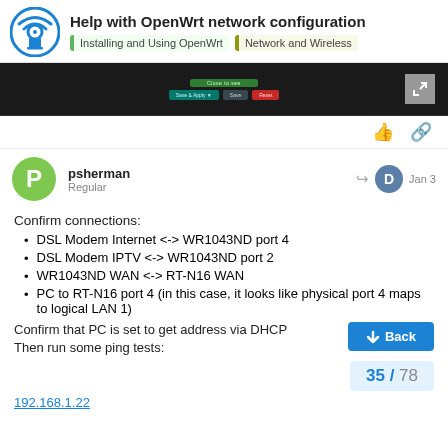Help with OpenWrt network configuration — Installing and Using OpenWrt | Network and Wireless
[Figure (screenshot): Dark UI screenshot showing OpenWrt network configuration interface with Save & Apply, Save, and Reset buttons]
psherman
Regular
Jan 3
Confirm connections:
DSL Modem Internet <-> WR1043ND port 4
DSL Modem IPTV <-> WR1043ND port 2
WR1043ND WAN <-> RT-N16 WAN
PC to RT-N16 port 4 (in this case, it looks like physical port 4 maps to logical LAN 1)
Confirm that PC is set to get address via DHCP
Then run some ping tests: